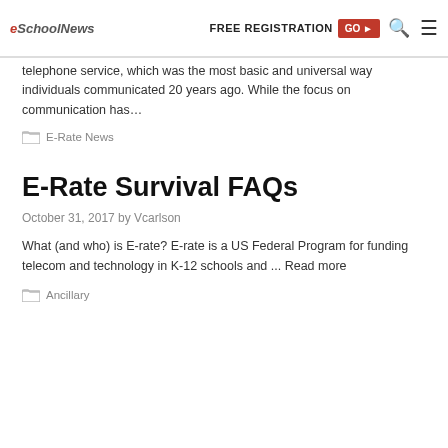eSchool News | FREE REGISTRATION GO ▶
telephone service, which was the most basic and universal way individuals communicated 20 years ago. While the focus on communication has…
E-Rate News
E-Rate Survival FAQs
October 31, 2017 by Vcarlson
What (and who) is E-rate? E-rate is a US Federal Program for funding telecom and technology in K-12 schools and ... Read more
Ancillary